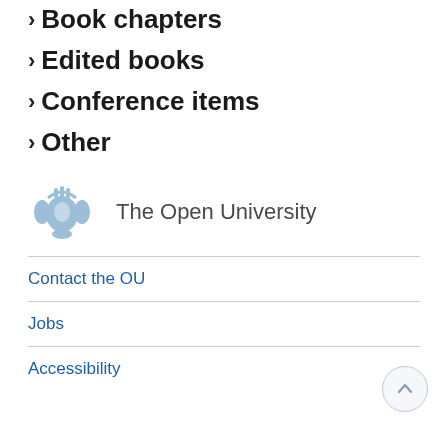Book chapters
Edited books
Conference items
Other
[Figure (logo): The Open University crest logo in light blue]
The Open University
Contact the OU
Jobs
Accessibility